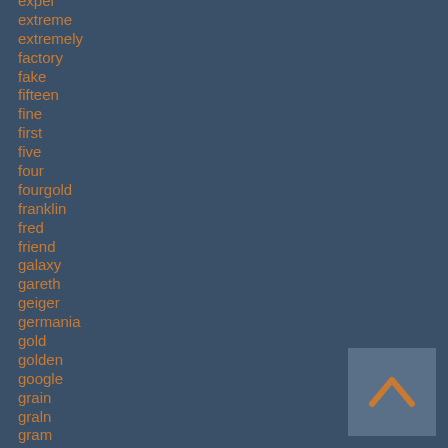expel
extreme
extremely
factory
fake
fifteen
fine
first
five
four
fourgold
franklin
fred
friend
galaxy
gareth
geiger
germania
gold
golden
google
grain
graln
gram
gram'perth
grams
great
[Figure (other): A square button with a chevron/up-arrow icon in orange on a medium blue-grey background, positioned in the bottom-right corner.]